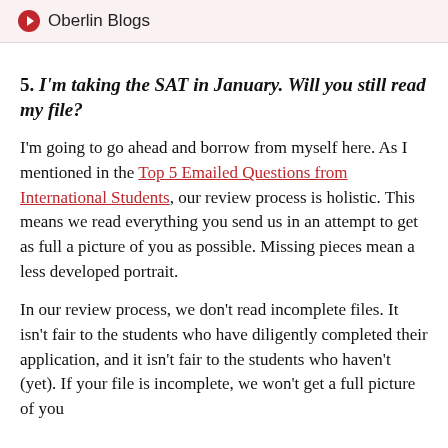Oberlin Blogs
5. I'm taking the SAT in January. Will you still read my file?
I'm going to go ahead and borrow from myself here. As I mentioned in the Top 5 Emailed Questions from International Students, our review process is holistic. This means we read everything you send us in an attempt to get as full a picture of you as possible. Missing pieces mean a less developed portrait.
In our review process, we don't read incomplete files. It isn't fair to the students who have diligently completed their application, and it isn't fair to the students who haven't (yet). If your file is incomplete, we won't get a full picture of you